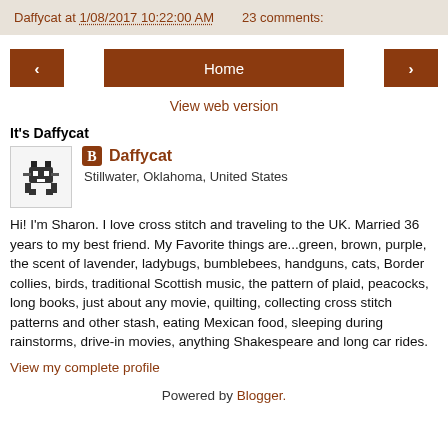Daffycat at 1/08/2017 10:22:00 AM    23 comments:
< Home >
View web version
It's Daffycat
[Figure (illustration): Small pixelated cat/animal avatar image]
Daffycat
Stillwater, Oklahoma, United States
Hi! I'm Sharon. I love cross stitch and traveling to the UK. Married 36 years to my best friend. My Favorite things are...green, brown, purple, the scent of lavender, ladybugs, bumblebees, handguns, cats, Border collies, birds, traditional Scottish music, the pattern of plaid, peacocks, long books, just about any movie, quilting, collecting cross stitch patterns and other stash, eating Mexican food, sleeping during rainstorms, drive-in movies, anything Shakespeare and long car rides.
View my complete profile
Powered by Blogger.